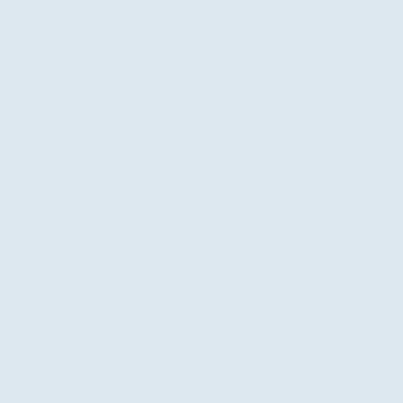| # | Image | Title |
| --- | --- | --- |
| 6 | [image] | Strategies |
| 6 | [image] | Cognitive Techniques for Need for Power & Control |
| 6 | [image] | Bipolar: CBT Interventions and Depressive Episodes |
| 6 | [image] | Pain Management: Cognitive Chronic Pain & Fibromyalgia |
| 6 | [image] | Pain Management: Cognitive Chronic Pain and Fibromyalgia |
| 6 | [image] | Pain Management: Cognitive Chronic Pain and Fibromyalgia |
| 5 | [image] | Cognitive Behavioral Therapy Treating Anxiety |
| 5 | [image] | Treating Dysthymia in Children Cognitive Behavioral Therapy |
| 3 | [image] | Cognitive Therapy for Chronic PAINAbb1 |